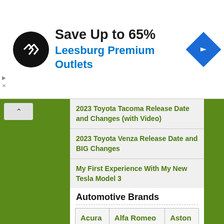[Figure (infographic): Advertisement banner: circular black logo with double arrow icon, text 'Save Up to 65%' in bold black and 'Leesburg Premium Outlets' in blue bold, blue diamond navigation arrow icon on right. Small triangle and X labels on left edge.]
2023 Toyota Tacoma Release Date and Changes (with Video)
2023 Toyota Venza Release Date and BIG Changes
My First Experience With My New Tesla Model 3
Automotive Brands
| Acura | Alfa Romeo | Aston |
| Audi | Bentley | BMW |